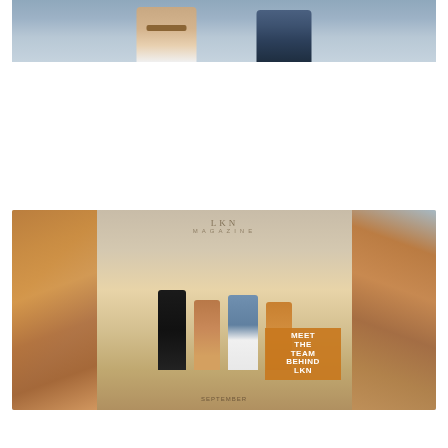[Figure (photo): Top portion of a fashion/lifestyle photo showing two people standing, one wearing a tan/cream outfit with a brown leather belt, the other in a navy blazer, with water visible in the background.]
[Figure (photo): Bottom photo showing multiple copies of LKN Magazine scattered around, with four women sitting on a boat deck in the center. Text overlay reads 'MEET THE TEAM BEHIND LKN' in orange. A 'SEPTEMBER' label is visible at the bottom.]